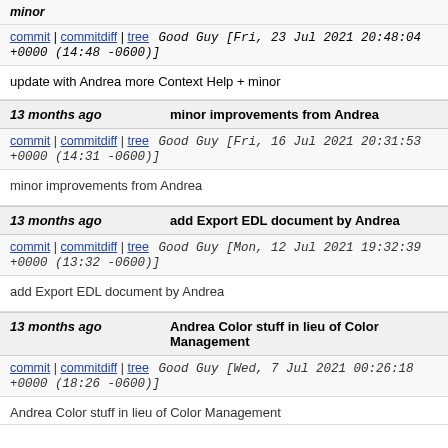minor
commit | commitdiff | tree  Good Guy [Fri, 23 Jul 2021 20:48:04 +0000 (14:48 -0600)]
update with Andrea more Context Help + minor
13 months ago   minor improvements from Andrea
commit | commitdiff | tree  Good Guy [Fri, 16 Jul 2021 20:31:53 +0000 (14:31 -0600)]
minor improvements from Andrea
13 months ago   add Export EDL document by Andrea
commit | commitdiff | tree  Good Guy [Mon, 12 Jul 2021 19:32:39 +0000 (13:32 -0600)]
add Export EDL document by Andrea
13 months ago   Andrea Color stuff in lieu of Color Management
commit | commitdiff | tree  Good Guy [Wed, 7 Jul 2021 00:26:18 +0000 (18:26 -0600)]
Andrea Color stuff in lieu of Color Management